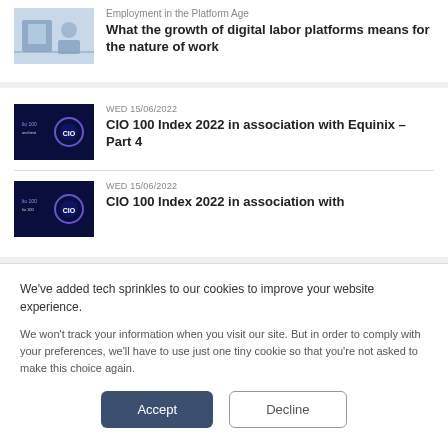[Figure (screenshot): Thumbnail image for Employment in the Platform Age article showing workers and technology]
Employment in the Platform Age What the growth of digital labor platforms means for the nature of work
[Figure (screenshot): CIO 100 Index thumbnail – dark blue with CIO 100 circular logo]
WED 15/06/2022
CIO 100 Index 2022 in association with Equinix – Part 4
[Figure (screenshot): CIO 100 Index thumbnail – dark blue with CIO 100 circular logo]
WED 15/06/2022
CIO 100 Index 2022 in association with
We've added tech sprinkles to our cookies to improve your website experience.
We won't track your information when you visit our site. But in order to comply with your preferences, we'll have to use just one tiny cookie so that you're not asked to make this choice again.
Accept
Decline